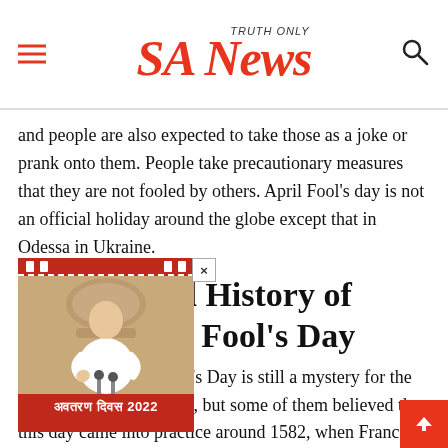SA News — TRUTH ONLY
and people are also expected to take those as a joke or prank onto them. People take precautionary measures that they are not fooled by others. April Fool's day is not an official holiday around the globe except that in Odessa in Ukraine.
Background History of About April Fool's Day
[Figure (photo): Advertisement overlay showing a person seated at a podium, red background with dashed white borders and pillars at top, text 'अवतरण दिवस 2022' at bottom. Has a close (×) button at top right.]
The origin of April Fool's Day is still a mystery for the people around the world, but some of them believed that this day came into practice around 1582, when France shifted from the Julian calendar to the Gregorian calendar as per Council of Trent in 1563. Like Hindu calendar, the celebration of the new year in the Julian